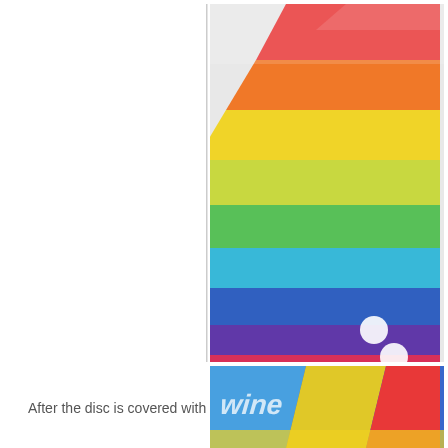[Figure (photo): Close-up photo of colorful washi tape strips in rainbow colors (red, orange, yellow, green, blue, purple) arranged diagonally on a disc or flat surface, with two white circular dots visible at the bottom. The image has a white border and is positioned in the upper right portion of the page.]
After the disc is covered with washi tape, wrap some contrasting narrow
[Figure (photo): Partially visible close-up photo of a colorful disc covered with washi tape in multiple colors, with text or label partially visible on the surface. The image is positioned in the lower right of the page and is partially cut off.]